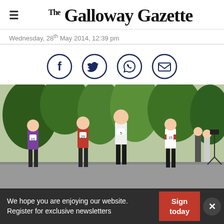The Galloway Gazette
Wednesday, 28th May 2014, 12:39 pm
[Figure (infographic): Four circular social sharing icons: Facebook (f), Twitter (bird), WhatsApp (phone), Email (envelope), arranged horizontally]
[Figure (photo): Runners in a road race with race numbers including 65, 25, 30, 5, 15; running through a tree-lined route with spectators and a camera crew watching]
We hope you are enjoying our website. Register for exclusive newsletters
Sign today